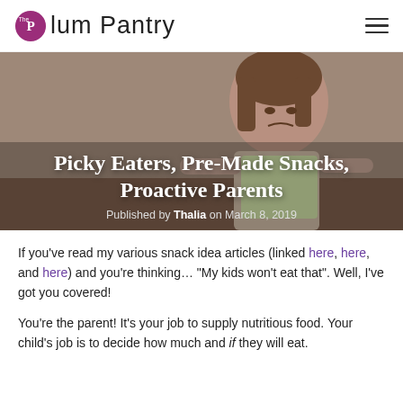The Plum Pantry
[Figure (photo): Photo of a young girl with a scrunched, disgusted facial expression, wearing a light green tank top, with brown hair, appearing to be a picky eater rejecting food.]
Picky Eaters, Pre-Made Snacks, Proactive Parents
Published by Thalia on March 8, 2019
If you've read my various snack idea articles (linked here, here, and here) and you're thinking… "My kids won't eat that". Well, I've got you covered!
You're the parent! It's your job to supply nutritious food. Your child's job is to decide how much and if they will eat.